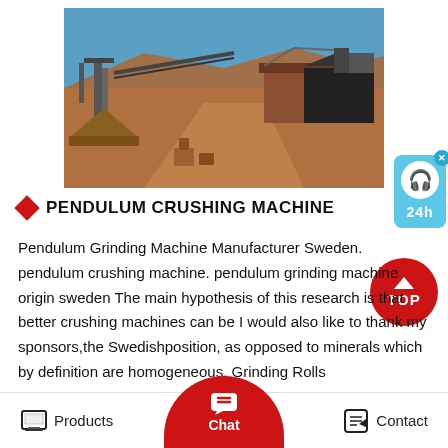[Figure (photo): Outdoor mining/quarry facility with industrial conveyor structures, earthen hillside, and heavy equipment under blue sky]
PENDULUM CRUSHING MACHINE
Pendulum Grinding Machine Manufacturer Sweden. pendulum crushing machine. pendulum grinding machine origin sweden The main hypothesis of this research is that better crushing machines can be I would also like to thank my sponsors,the Swedishposition, as opposed to minerals which by definition are homogeneous, Grinding Rolls
Products   Chat   Contact